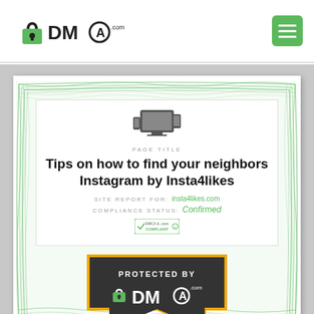[Figure (logo): DMCA.com logo with padlock icon]
[Figure (screenshot): DMCA compliance certificate card with guilloche border, showing page title, site report, and compliance status badge]
Tips on how to find your neighbors Instagram by Insta4likes
PAGE TITLE
SITE REPORT FOR: insta4likes.com
COMPLIANCE STATUS: Confirmed
[Figure (logo): DMCA PROTECTED BY badge in dark grey and orange]